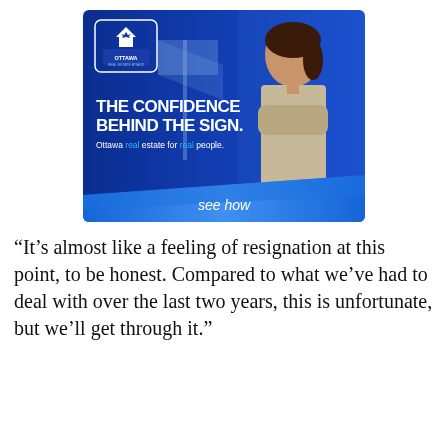[Figure (illustration): Ottawa Real Estate Board advertisement with blue background showing a smiling woman with arms crossed. Text reads: THE CONFIDENCE BEHIND THE SIGN. Ottawa real estate for real people. see how. Logo in top left corner.]
“It’s almost like a feeling of resignation at this point, to be honest. Compared to what we’ve had to deal with over the last two years, this is unfortunate, but we’ll get through it.”